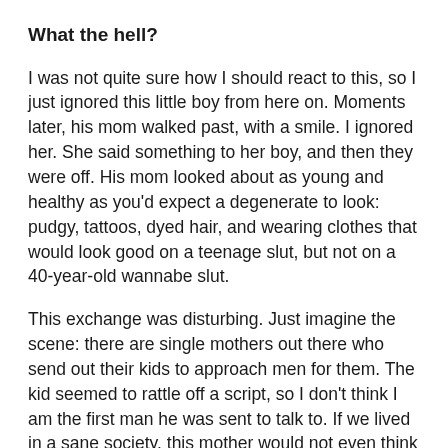What the hell?
I was not quite sure how I should react to this, so I just ignored this little boy from here on. Moments later, his mom walked past, with a smile. I ignored her. She said something to her boy, and then they were off. His mom looked about as young and healthy as you'd expect a degenerate to look: pudgy, tattoos, dyed hair, and wearing clothes that would look good on a teenage slut, but not on a 40-year-old wannabe slut.
This exchange was disturbing. Just imagine the scene: there are single mothers out there who send out their kids to approach men for them. The kid seemed to rattle off a script, so I don't think I am the first man he was sent to talk to. If we lived in a sane society, this mother would not even think of doing that. Well, there would not be any single mothers in the first place.